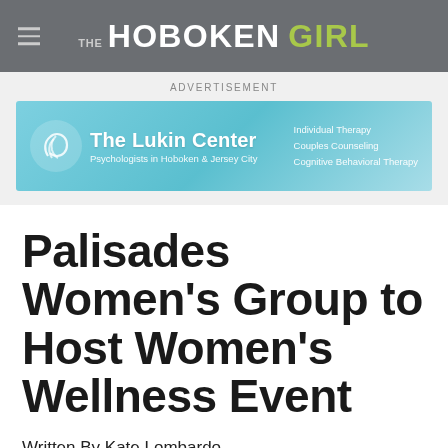THE HOBOKEN GIRL
[Figure (other): Advertisement banner for The Lukin Center, Psychologists in Hoboken & Jersey City. Services listed: Individual Therapy, Couples Counseling, Cognitive Behavioral Therapy.]
ADVERTISEMENT
Palisades Women's Group to Host Women's Wellness Event
Written By Kate Lombardo
May 2, 2018